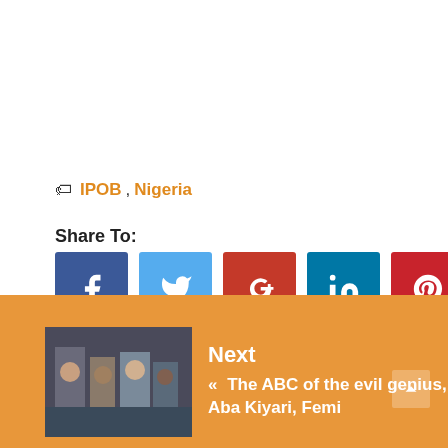IPOB, Nigeria
Share To:
[Figure (other): Social share buttons: Facebook, Twitter, Google+, LinkedIn, Pinterest, StumbleUpon, Reddit]
Next
[Figure (photo): Thumbnail image showing group of people]
« The ABC of the evil genius, Aba Kiyari, Femi